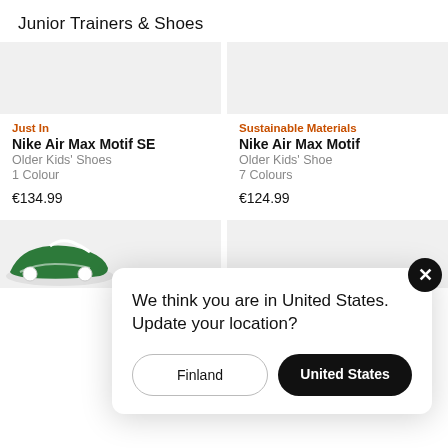Junior Trainers & Shoes
Just In
Nike Air Max Motif SE
Older Kids' Shoes
1 Colour
€134.99
Sustainable Materials
Nike Air Max Motif
Older Kids' Shoe
7 Colours
€124.99
We think you are in United States. Update your location?
Finland
United States